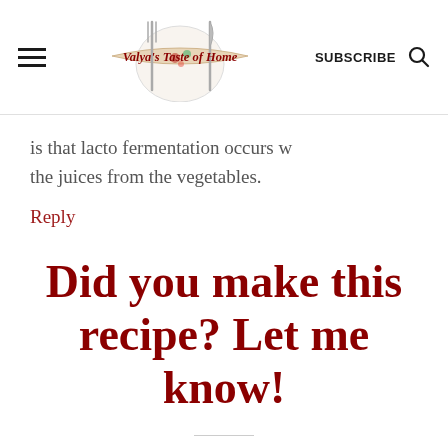Valya's Taste of Home | SUBSCRIBE
is that lacto fermentation occurs w the juices from the vegetables.
Reply
Did you make this recipe? Let me know!